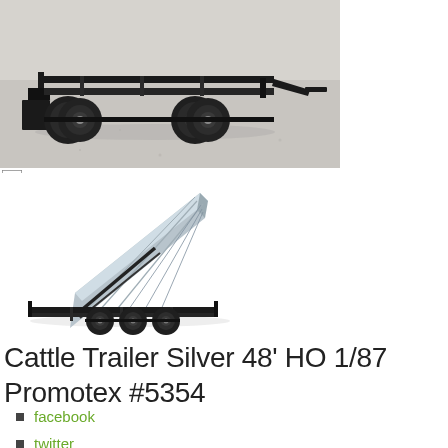[Figure (photo): Scale model HO 1/87 trailer chassis/dolly with black frame and gray wheels on a light gray surface background]
[Figure (photo): Scale model HO 1/87 dump trailer tilted up showing silver aluminum bed and black frame with triple axle, on white background]
Cattle Trailer Silver 48' HO 1/87 Promotex #5354
facebook
twitter